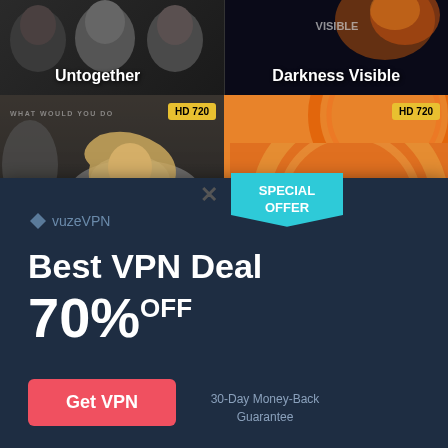[Figure (screenshot): Streaming website showing movie thumbnails: 'Untogether' (black and white faces) and 'Darkness Visible' (dark sci-fi) in top row; 'WHAT WOULD YOU DO' movie with HD 720 badge and blonde woman in bottom-left; 'Ik Steady Row' with HD 720 badge and illustrated figures in bottom-right.]
[Figure (infographic): VuzeVPN popup advertisement overlay with dark blue background. Shows 'SPECIAL OFFER' badge in teal, vuzeVPN logo, 'Best VPN Deal' headline, '70% OFF' in large text, red 'Get VPN' button, and '30-Day Money-Back Guarantee' text. Close X button in top right.]
Best VPN Deal
70% OFF
Get VPN
30-Day Money-Back Guarantee
SPECIAL OFFER
vuzeVPN
Untogether
Darkness Visible
HD 720
HD 720
k Steady Row